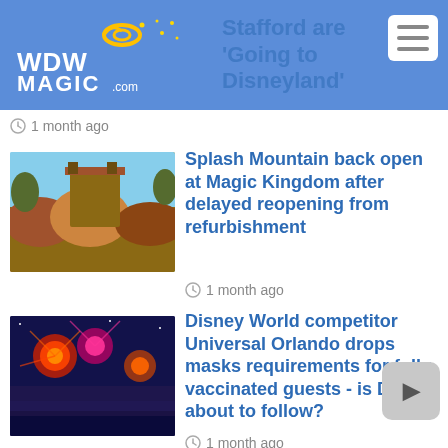WDWMagic - Stafford are 'Going to Disneyland'
1 month ago
[Figure (photo): Splash Mountain attraction exterior at Magic Kingdom with wooden structure and rock formations]
Splash Mountain back open at Magic Kingdom after delayed reopening from refurbishment
1 month ago
[Figure (photo): Fireworks display at Disney World at night with colorful explosions over water]
Disney World competitor Universal Orlando drops masks requirements for fully vaccinated guests - is Disney about to follow?
1 month ago
[Figure (photo): Magic Kingdom castle view with clouds and sky in background]
Magic Kingdom likely to close early on two dates in